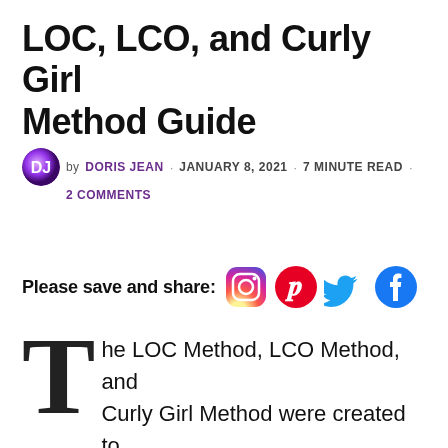LOC, LCO, and Curly Girl Method Guide
by DORIS JEAN · JANUARY 8, 2021 · 7 MINUTE READ · 2 COMMENTS
Please save and share: [Instagram] [Pinterest] [Twitter] [Facebook]
The LOC Method, LCO Method, and Curly Girl Method were created to